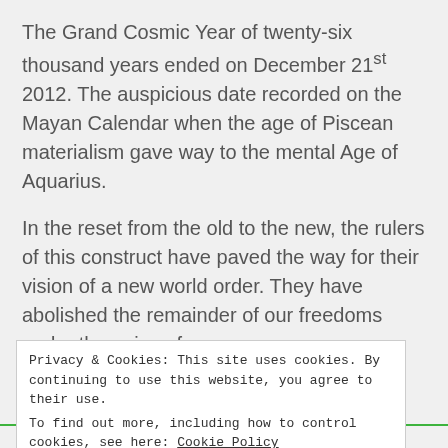The Grand Cosmic Year of twenty-six thousand years ended on December 21st 2012. The auspicious date recorded on the Mayan Calendar when the age of Piscean materialism gave way to the mental Age of Aquarius.
In the reset from the old to the new, the rulers of this construct have paved the way for their vision of a new world order. They have abolished the remainder of our freedoms under the guise of
Privacy & Cookies: This site uses cookies. By continuing to use this website, you agree to their use.
To find out more, including how to control cookies, see here: Cookie Policy
Close and accept
Advertisements